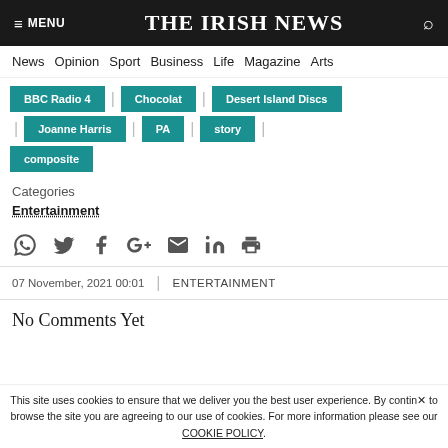THE IRISH NEWS
News  Opinion  Sport  Business  Life  Magazine  Arts
BBC Radio 4 | Chocolat | Desert Island Discs | Joanne Harris | PA | story | composite
Categories
Entertainment
07 November, 2021 00:01  |  ENTERTAINMENT
No Comments Yet
This site uses cookies to ensure that we deliver you the best user experience. By continuing to browse the site you are agreeing to our use of cookies. For more information please see our COOKIE POLICY.